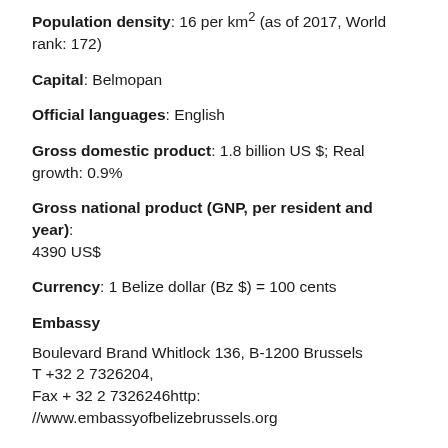Population density: 16 per km² (as of 2017, World rank: 172)
Capital: Belmopan
Official languages: English
Gross domestic product: 1.8 billion US $; Real growth: 0.9%
Gross national product (GNP, per resident and year): 4390 US$
Currency: 1 Belize dollar (Bz $) = 100 cents
Embassy
Boulevard Brand Whitlock 136, B-1200 Brussels
T +32 2 7326204,
Fax + 32 2 7326246http: //www.embassyofbelizebrussels.org
Government
Head of State: Elizabeth II, Head of Government: Dean